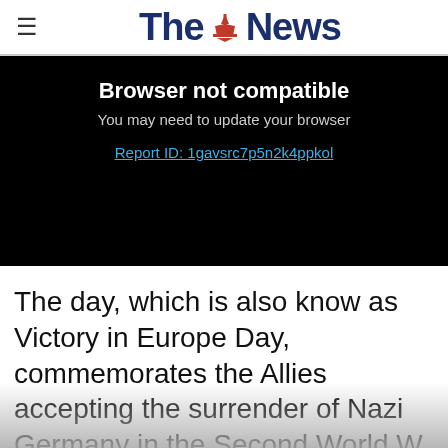The News
[Figure (screenshot): Browser not compatible overlay on a black video player area. Text: 'Browser not compatible / You may need to update your browser / Report ID: 1gavsrc7p5n2k4ppkol']
The day, which is also know as Victory in Europe Day, commemorates the Allies accepting the surrender of Nazi Germany in the Second World W...